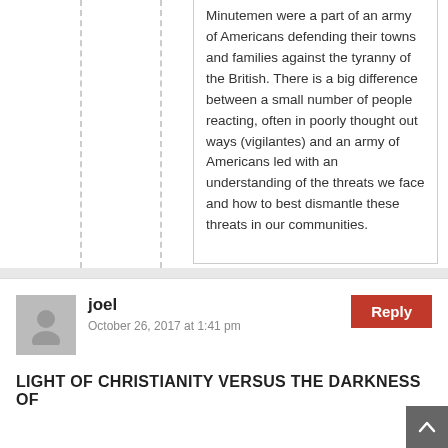Minutemen were a part of an army of Americans defending their towns and families against the tyranny of the British. There is a big difference between a small number of people reacting, often in poorly thought out ways (vigilantes) and an army of Americans led with an understanding of the threats we face and how to best dismantle these threats in our communities.
joel
October 26, 2017 at 1:41 pm
Reply
LIGHT OF CHRISTIANITY VERSUS THE DARKNESS OF